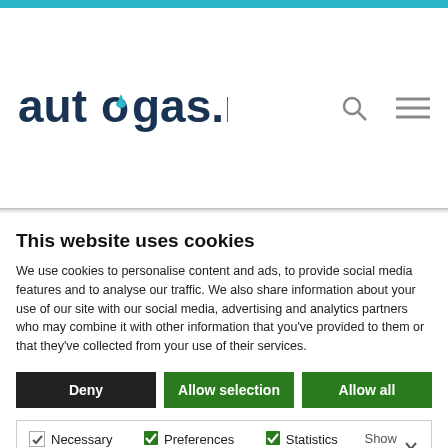[Figure (logo): autogas.net logo with stylized 'o' in teal/blue]
This website uses cookies
We use cookies to personalise content and ads, to provide social media features and to analyse our traffic. We also share information about your use of our site with our social media, advertising and analytics partners who may combine it with other information that you've provided to them or that they've collected from your use of their services.
Deny | Allow selection | Allow all
Necessary  Preferences  Statistics  Marketing  Show details